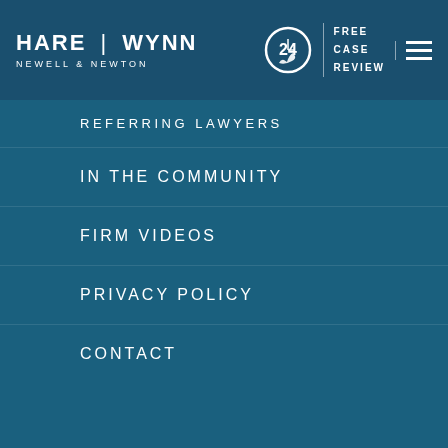[Figure (logo): Hare Wynn Newell & Newton law firm logo with 24-hour phone icon, FREE CASE REVIEW text, and hamburger menu in dark blue header bar]
REFERRING LAWYERS
IN THE COMMUNITY
FIRM VIDEOS
PRIVACY POLICY
CONTACT
[Figure (logo): Hare Wynn law firm logo in bottom white section with HARE | WYNN text in blue-gray, woman photo, and Live Chat START NOW button. Gray scroll-to-top button on right.]